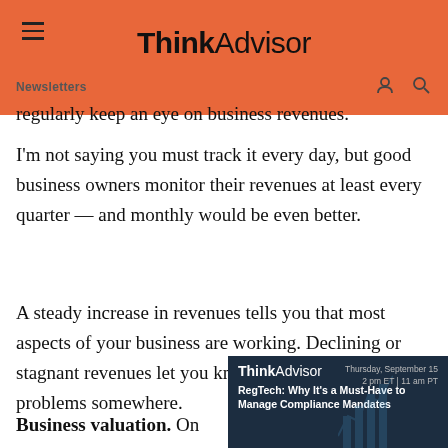ThinkAdvisor — Newsletters
regularly keep an eye on business revenues.
I'm not saying you must track it every day, but good business owners monitor their revenues at least every quarter — and monthly would be even better.
A steady increase in revenues tells you that most aspects of your business are working. Declining or stagnant revenues let you know that you have problems somewhere.
Business valuation. On the other side, many business owners don't track the value of their business — but they should.
[Figure (screenshot): ThinkAdvisor advertisement overlay: Thursday, September 15, 2 pm ET | 11 am PT — RegTech: Why It's a Must-Have to Manage Compliance Mandates]